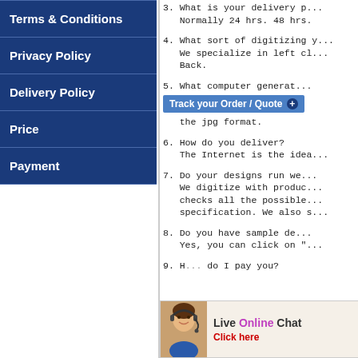Terms & Conditions
Privacy Policy
Delivery Policy
Price
Payment
3. What is your delivery period? Normally 24 hrs. 48 hrs.
4. What sort of digitizing y... We specialize in left ch... Back.
5. What computer generat... [Track your Order / Quote button] the jpg format.
6. How do you deliver? The Internet is the idea...
7. Do your designs run we... We digitize with produc... checks all the possible... specification. We also s...
8. Do you have sample de... Yes, you can click on "...
9. H... do I pay you?
[Figure (screenshot): Live Online Chat widget with a woman wearing a headset, text 'Live Online Chat' and 'Click here']